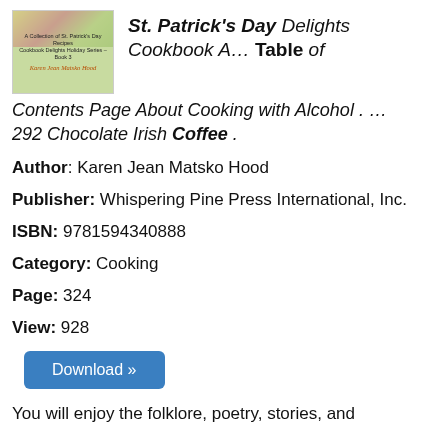[Figure (illustration): Book cover of St. Patrick's Day Delights Cookbook with colorful background and author name Karen Jean Matsko Hood]
St. Patrick's Day Delights Cookbook A... Table of Contents Page About Cooking with Alcohol . ... 292 Chocolate Irish Coffee .
Author: Karen Jean Matsko Hood
Publisher: Whispering Pine Press International, Inc.
ISBN: 9781594340888
Category: Cooking
Page: 324
View: 928
Download »
You will enjoy the folklore, poetry, stories, and